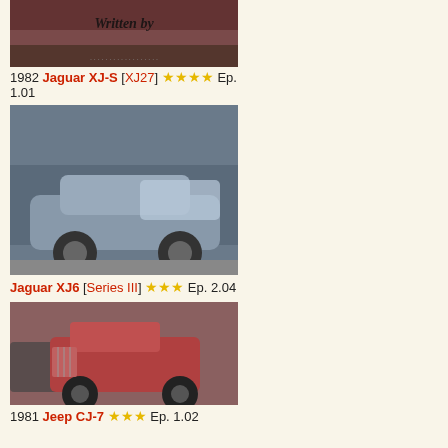[Figure (photo): Top partial image of a car scene with 'Written by' text overlay, pink/dark tones]
1982 Jaguar XJ-S [XJ27] ★★★★ Ep. 1.01
[Figure (photo): Blue/gray Jaguar XJ6 driving on a road]
Jaguar XJ6 [Series III] ★★★ Ep. 2.04
[Figure (photo): Red/pink Jeep CJ-7 parked in a lot]
1981 Jeep CJ-7 ★★★ Ep. 1.02
[Figure (photo): Light blue Jeep CJ-7 with person getting in]
1981 Jeep CJ-7 ★★ Ep. 2.02